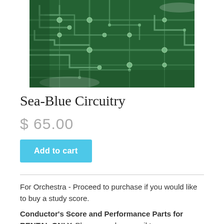[Figure (photo): Close-up photo of a green printed circuit board (PCB) with etched copper traces and solder pads.]
Sea-Blue Circuitry
$ 65.00
Add to cart
For Orchestra - Proceed to purchase if you would like to buy a study score.
Conductor's Score and Performance Parts for RENTAL ONLY. Please send an email to info@aphramusic.com to request a rental application form.